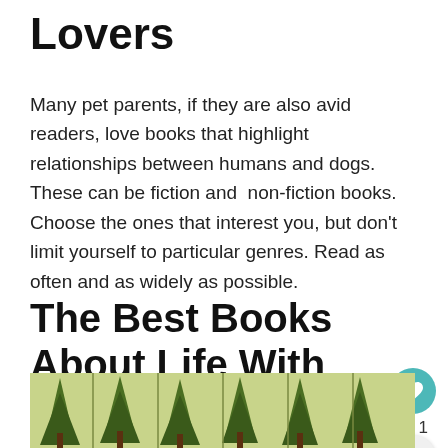Lovers
Many pet parents, if they are also avid readers, love books that highlight relationships between humans and dogs. These can be fiction and  non-fiction books. Choose the ones that interest you, but don't limit yourself to particular genres. Read as often and as widely as possible.
The Best Books About Life With Dogs
[Figure (photo): Bottom portion of a decorative book cover image showing a repeating pattern of illustrated pine/redwood trees in green and yellow tones, tiled across multiple book spines.]